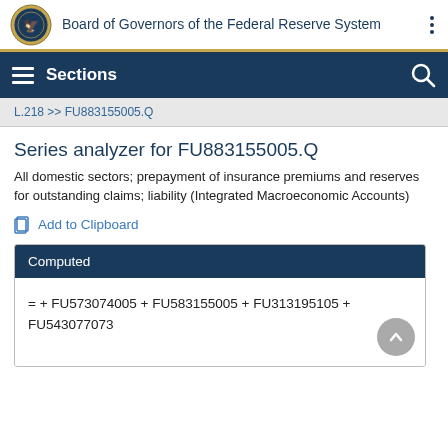Board of Governors of the Federal Reserve System
Sections
L.218 >> FU883155005.Q
Series analyzer for FU883155005.Q
All domestic sectors; prepayment of insurance premiums and reserves for outstanding claims; liability (Integrated Macroeconomic Accounts)
Add to Clipboard
| Computed |
| --- |
| = + FU573074005 + FU583155005 + FU313195105 + FU543077073 |